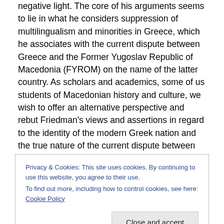negative light. The core of his arguments seems to lie in what he considers suppression of multilingualism and minorities in Greece, which he associates with the current dispute between Greece and the Former Yugoslav Republic of Macedonia (FYROM) on the name of the latter country. As scholars and academics, some of us students of Macedonian history and culture, we wish to offer an alternative perspective and rebut Friedman's views and assertions in regard to the identity of the modern Greek nation and the true nature of the current dispute between Greece and FYROM. It should be noted that, prior to our
Privacy & Cookies: This site uses cookies. By continuing to use this website, you agree to their use.
To find out more, including how to control cookies, see here: Cookie Policy
Close and accept